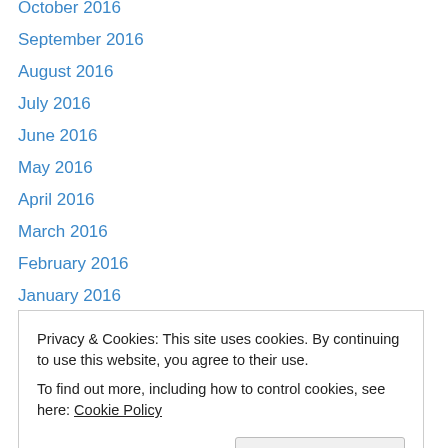October 2016
September 2016
August 2016
July 2016
June 2016
May 2016
April 2016
March 2016
February 2016
January 2016
December 2015
November 2015
October 2015
September 2015
March 2015
Privacy & Cookies: This site uses cookies. By continuing to use this website, you agree to their use.
To find out more, including how to control cookies, see here: Cookie Policy